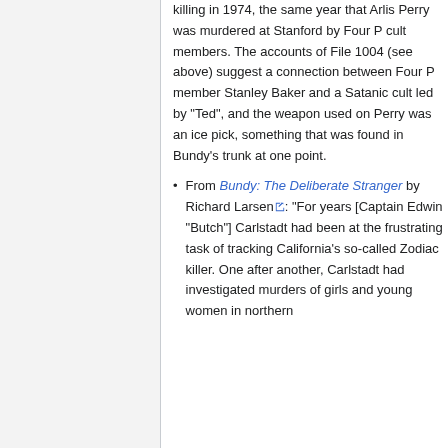killing in 1974, the same year that Arlis Perry was murdered at Stanford by Four P cult members. The accounts of File 1004 (see above) suggest a connection between Four P member Stanley Baker and a Satanic cult led by "Ted", and the weapon used on Perry was an ice pick, something that was found in Bundy's trunk at one point.
From Bundy: The Deliberate Stranger by Richard Larsen: "For years [Captain Edwin "Butch"] Carlstadt had been at the frustrating task of tracking California's so-called Zodiac killer. One after another, Carlstadt had investigated murders of girls and young women in northern